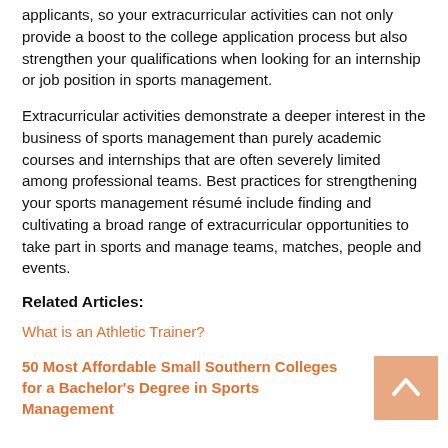applicants, so your extracurricular activities can not only provide a boost to the college application process but also strengthen your qualifications when looking for an internship or job position in sports management.
Extracurricular activities demonstrate a deeper interest in the business of sports management than purely academic courses and internships that are often severely limited among professional teams. Best practices for strengthening your sports management résumé include finding and cultivating a broad range of extracurricular opportunities to take part in sports and manage teams, matches, people and events.
Related Articles:
What is an Athletic Trainer?
50 Most Affordable Small Southern Colleges for a Bachelor's Degree in Sports Management
Job Profile: Sports Agent